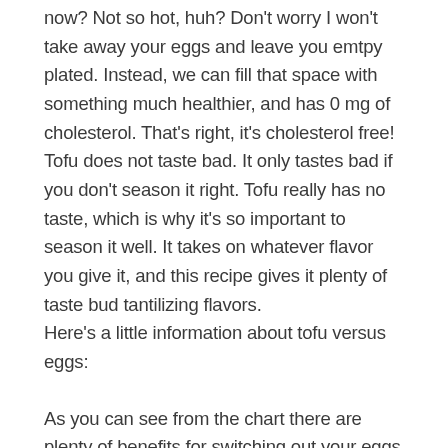now? Not so hot, huh? Don't worry I won't take away your eggs and leave you emtpy plated. Instead, we can fill that space with something much healthier, and has 0 mg of cholesterol. That's right, it's cholesterol free! Tofu does not taste bad. It only tastes bad if you don't season it right. Tofu really has no taste, which is why it's so important to season it well. It takes on whatever flavor you give it, and this recipe gives it plenty of taste bud tantilizing flavors. Here's a little information about tofu versus eggs:
As you can see from the chart there are plenty of benefits for switching out your eggs for this scrambled tofu recipe.